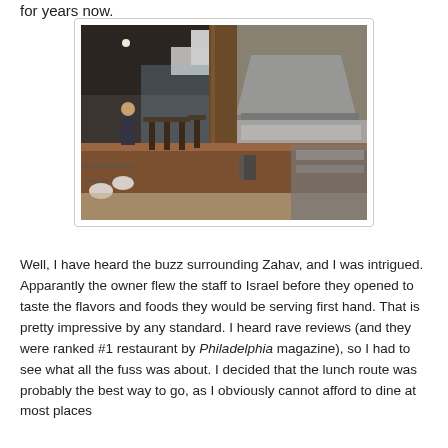for years now.
[Figure (photo): Interior of Zahav restaurant showing a long bar counter with wooden stools, an open kitchen with stainless steel equipment and vent hoods, dark ceiling with pendant lights, and dining tables in the background.]
Well, I have heard the buzz surrounding Zahav, and I was intrigued. Apparantly the owner flew the staff to Israel before they opened to taste the flavors and foods they would be serving first hand. That is pretty impressive by any standard. I heard rave reviews (and they were ranked #1 restaurant by Philadelphia magazine), so I had to see what all the fuss was about. I decided that the lunch route was probably the best way to go, as I obviously cannot afford to dine at most places